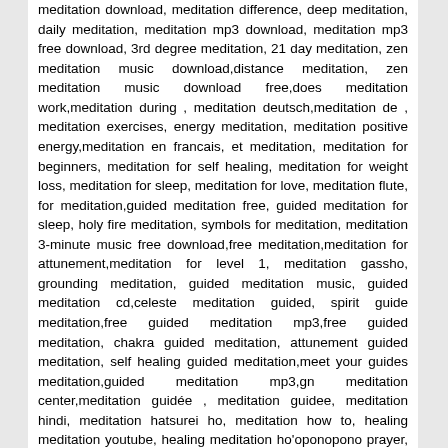meditation download, meditation difference, deep meditation, daily meditation, meditation mp3 download, meditation mp3 free download, 3rd degree meditation, 21 day meditation, zen meditation music download,distance meditation, zen meditation music download free,does meditation work,meditation during , meditation deutsch,meditation de , meditation exercises, energy meditation, meditation positive energy,meditation en francais, et meditation, meditation for beginners, meditation for self healing, meditation for weight loss, meditation for sleep, meditation for love, meditation flute, for meditation,guided meditation free, guided meditation for sleep, holy fire meditation, symbols for meditation, meditation 3-minute music free download,free meditation,meditation for attunement,meditation for level 1, meditation gassho, grounding meditation, guided meditation music, guided meditation cd,celeste meditation guided, spirit guide meditation,free guided meditation mp3,free guided meditation, chakra guided meditation, attunement guided meditation, self healing guided meditation,meet your guides meditation,guided meditation mp3,gn meditation center,meditation guidée , meditation guidee, meditation hindi, meditation hatsurei ho, meditation how to, healing meditation youtube, healing meditation ho'oponopono prayer, healing meditation